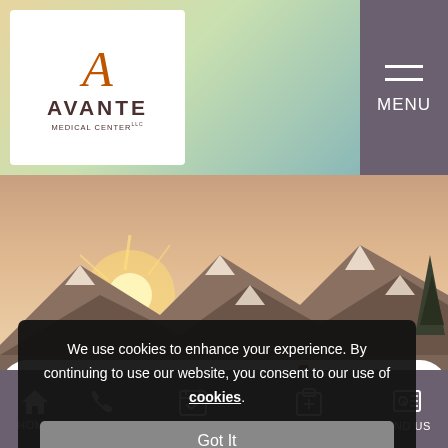[Figure (logo): Avante Medical Center LLC logo with stylized A in orange/red on white background]
[Figure (photo): Mountain landscape hero photo with sunrise/sunset over snowy peaks and a pine tree]
We use cookies to enhance your experience. By continuing to use our website, you consent to our use of cookies.
Got It
he DNP, APRN, CNM, FNP
HOME   CALL   APPOINTMENT   TREATMENTS   FIND US